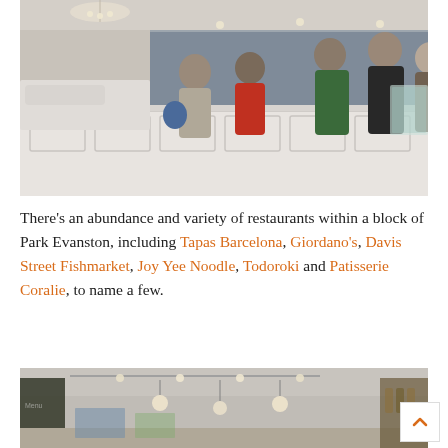[Figure (photo): Interior of a cafe or restaurant counter area with customers standing at the bar. A chandelier hangs from the ceiling, decorative white paneling lines the counter, and shelves of products fill the background.]
There's an abundance and variety of restaurants within a block of Park Evanston, including Tapas Barcelona, Giordano's, Davis Street Fishmarket, Joy Yee Noodle, Todoroki and Patisserie Coralie, to name a few.
[Figure (photo): Interior of a restaurant or wine bar with track lighting on the ceiling, pendant lights, artwork on the walls, and shelves of bottles visible in the background.]